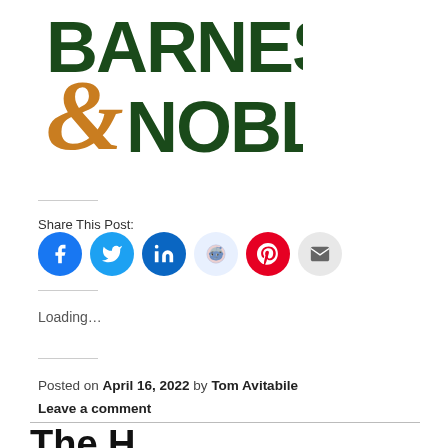[Figure (logo): Barnes & Noble logo: BARNES & NOBLE text with an ampersand in orange and the rest in dark green]
Share This Post:
[Figure (infographic): Social share buttons: Facebook (blue), Twitter (blue), LinkedIn (dark blue), Reddit (light blue), Pinterest (red), Email (gray)]
Loading...
Posted on April 16, 2022 by Tom Avitabile
Leave a comment
The H